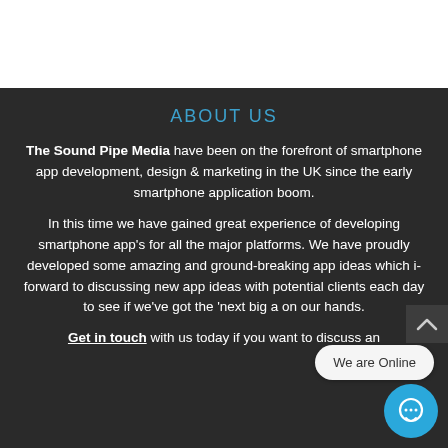[Figure (other): White top banner area]
ABOUT US
The Sound Pipe Media have been on the forefront of smartphone app development, design & marketing in the UK since the early smartphone application boom.
In this time we have gained great experience of developing smartphone app's for all the major platforms. We have proudly developed some amazing and ground-breaking app ideas which i... forward to discussing new app ideas with potential clients each day to see if we've got the 'next big a... on our hands.
Get in touch with us today if you want to discuss an